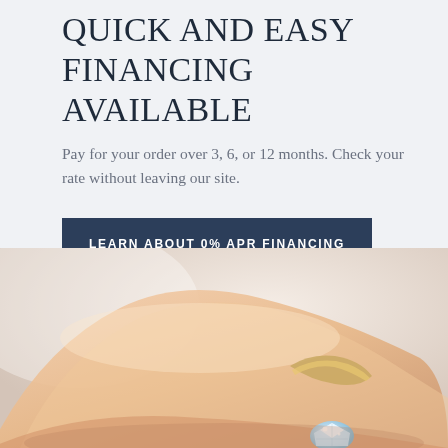QUICK AND EASY FINANCING AVAILABLE
Pay for your order over 3, 6, or 12 months. Check your rate without leaving our site.
LEARN ABOUT 0% APR FINANCING
[Figure (photo): Close-up photograph of a hand wearing a diamond engagement ring, soft warm lighting with blurred background]